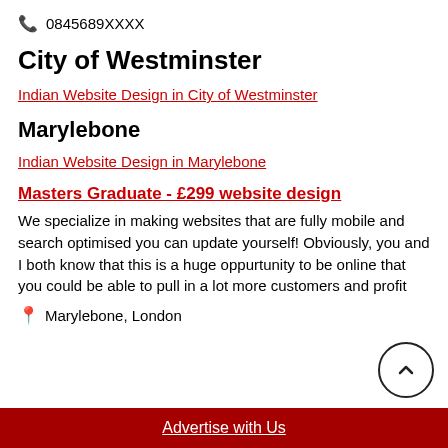📞 0845689XXXX
City of Westminster
Indian Website Design in City of Westminster
Marylebone
Indian Website Design in Marylebone
Masters Graduate - £299 website design
We specialize in making websites that are fully mobile and search optimised you can update yourself! Obviously, you and I both know that this is a huge oppurtunity to be online that you could be able to pull in a lot more customers and profit
📍 Marylebone, London
Advertise with Us